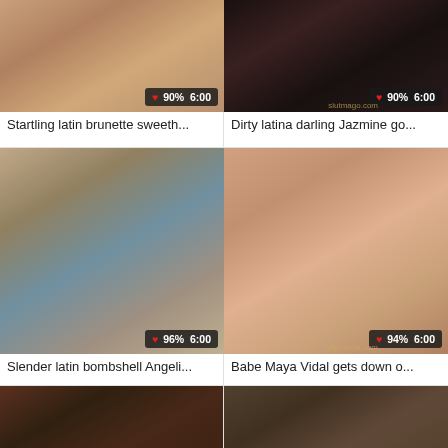[Figure (photo): Video thumbnail 1 - latin brunette]
Startling latin brunette sweeth...
[Figure (photo): Video thumbnail 2 - latina darling Jazmine]
Dirty latina darling Jazmine go...
[Figure (photo): Video thumbnail 3 - latin bombshell Angeli...]
Slender latin bombshell Angeli...
[Figure (photo): Video thumbnail 4 - Babe Maya Vidal]
Babe Maya Vidal gets down o...
[Figure (photo): Video thumbnail 5 - partial bottom left]
[Figure (photo): Video thumbnail 6 - partial bottom right]